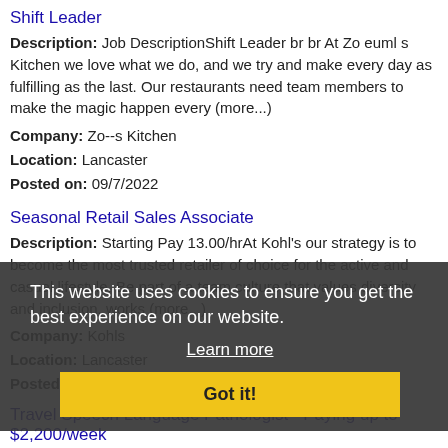Shift Leader
Description: Job DescriptionShift Leader br br At Zo euml s Kitchen we love what we do, and we try and make every day as fulfilling as the last. Our restaurants need team members to make the magic happen every (more...)
Company: Zo--s Kitchen
Location: Lancaster
Posted on: 09/7/2022
Seasonal Retail Sales Associate
Description: Starting Pay 13.00/hrAt Kohl's our strategy is to become the most trusted retailer of choice for the active and casual lifestyle. Be part of a team culture that values diversity and inclusion, works (more...)
Company: Kohls
Location: Lancaster
Posted on: 09/7/2022
Travel Speech Language Pathologist - Paying up to $2,200/week
Description: Vivian is looking for Travel Speech Language Pathologist Therapys in Lancaster, Pennsylvania paying up to 2,200/week br br br At Vivian, we ensure your next
This website uses cookies to ensure you get the best experience on our website. Learn more Got it!